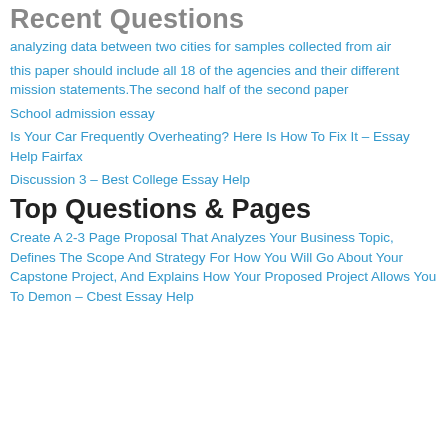Recent Questions
analyzing data between two cities for samples collected from air
this paper should include all 18 of the agencies and their different mission statements.The second half of the second paper
School admission essay
Is Your Car Frequently Overheating? Here Is How To Fix It – Essay Help Fairfax
Discussion 3 – Best College Essay Help
Top Questions & Pages
Create A 2-3 Page Proposal That Analyzes Your Business Topic, Defines The Scope And Strategy For How You Will Go About Your Capstone Project, And Explains How Your Proposed Project Allows You To Demon – Cbest Essay Help